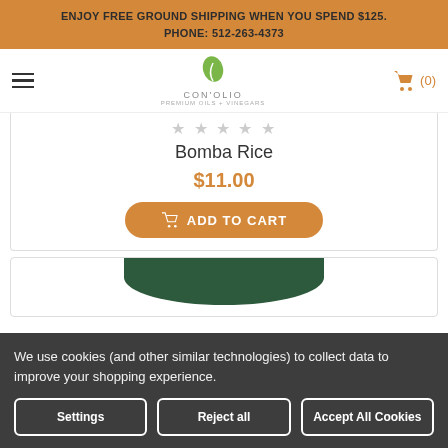ENJOY FREE GROUND SHIPPING WHEN YOU SPEND $125.
PHONE: 512-263-4373
[Figure (logo): Con'Olio logo with green leaf and text CON'OLIO]
Bomba Rice
$11.00
ADD TO CART
[Figure (photo): Partial view of green product lid/container]
We use cookies (and other similar technologies) to collect data to improve your shopping experience.
Settings | Reject all | Accept All Cookies